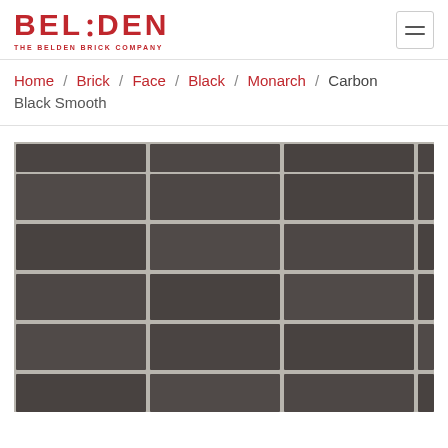Belden — The Belden Brick Company
Home / Brick / Face / Black / Monarch / Carbon Black Smooth
[Figure (photo): Close-up photograph of Carbon Black Smooth brick pattern showing dark charcoal/dark brown bricks with light gray mortar joints arranged in a running bond pattern.]